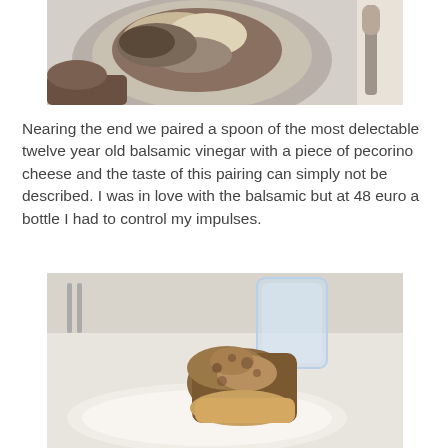[Figure (photo): A close-up photo of a dish with food (possibly a dessert or savory dish) on a plate, with a spoon visible to the right, on a white tablecloth.]
Nearing the end we paired a spoon of the most delectable twelve year old balsamic vinegar with a piece of pecorino cheese and the taste of this pairing can simply not be described. I was in love with the balsamic but at 48 euro a bottle I had to control my impulses.
[Figure (photo): A close-up photo of a piece of bread or cake on a white plate, with a glass of water visible in the background on a white tablecloth.]